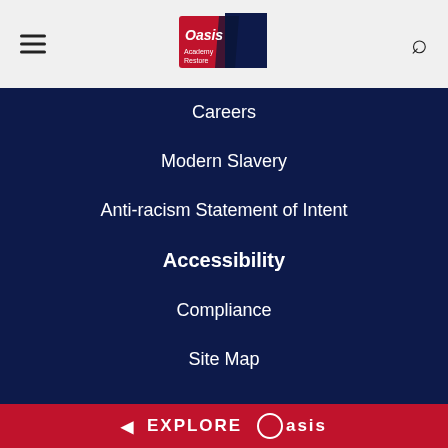Oasis Academy Restore - navigation header with logo
Careers
Modern Slavery
Anti-racism Statement of Intent
Accessibility
Compliance
Site Map
Cookie Policy
We use cookies on this site to enhance your user experience. By using our site, you agree to our use of cookies. Learn more
Decline  Allow cookies
EXPLORE Oasis